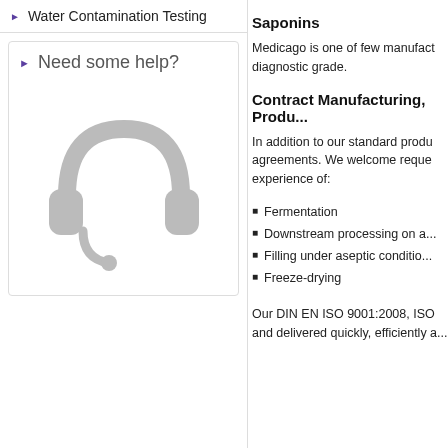Water Contamination Testing
Need some help?
[Figure (illustration): Gray headset/headphones icon for customer support]
Saponins
Medicago is one of few manufacturers to offer saponins of diagnostic grade.
Contract Manufacturing, Produ...
In addition to our standard products, we also enter into contract agreements. We welcome requests and have significant experience of:
Fermentation
Downstream processing on a...
Filling under aseptic conditio...
Freeze-drying
Our DIN EN ISO 9001:2008, ISO... and delivered quickly, efficiently a...